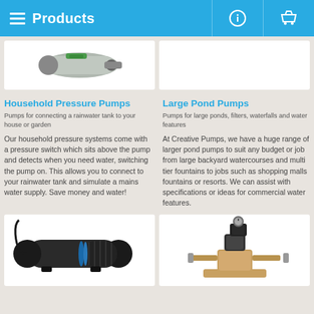Products
[Figure (photo): Partial top view of two product image cards showing pump products (cropped at top)]
Household Pressure Pumps
Pumps for connecting a rainwater tank to your house or garden
Our household pressure systems come with a pressure switch which sits above the pump and detects when you need water, switching the pump on. This allows you to connect to your rainwater tank and simulate a mains water supply. Save money and water!
Large Pond Pumps
Pumps for large ponds, filters, waterfalls and water features
At Creative Pumps, we have a huge range of larger pond pumps to suit any budget or job from large backyard watercourses and multi tier fountains to jobs such as shopping malls fountains or resorts. We can assist with specifications or ideas for commercial water features.
[Figure (photo): Bottom row showing two pump product photos: left is a black cylindrical pond pump, right is a brass household pressure pump system with pressure switch]
[Figure (photo): Right bottom: brass household pressure pump with black pressure switch on top]